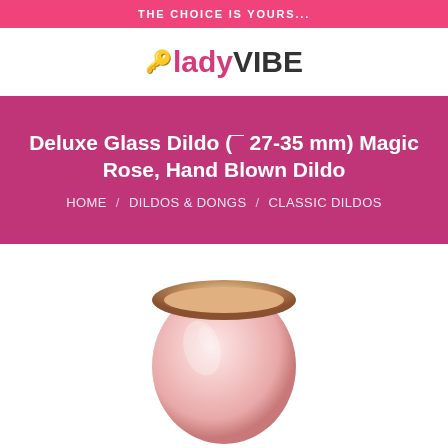THE CHOICE IS YOURS...
ladyVIBE
Deluxe Glass Dildo (¯ 27-35 mm) Magic Rose, Hand Blown Dildo
HOME / DILDOS & DONGS / CLASSIC DILDOS
[Figure (photo): Top-down view of a rose-gold glass dildo, bulbous head visible, pinkish translucent glass with metallic rose-gold rim at the top edge]